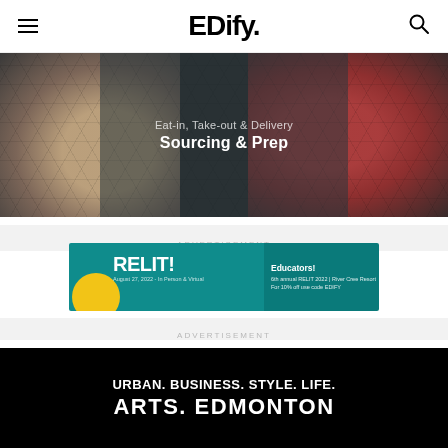EDify.
[Figure (photo): Food photograph with dish plates on dark hexagon-patterned background, with text overlaid: 'Eat-in, Take-out & Delivery' and 'Sourcing & Prep']
Eat-in, Take-out & Delivery
Sourcing & Prep
ADVERTISEMENT
[Figure (other): RELIT! advertisement banner: Educators! 6th annual RELIT 2022 | River Cree Resort. For 10% off use code EDIFY. August 27, 2022 - In Person & Virtual]
ADVERTISEMENT
URBAN. BUSINESS. STYLE. LIFE.
ARTS. EDMONTON